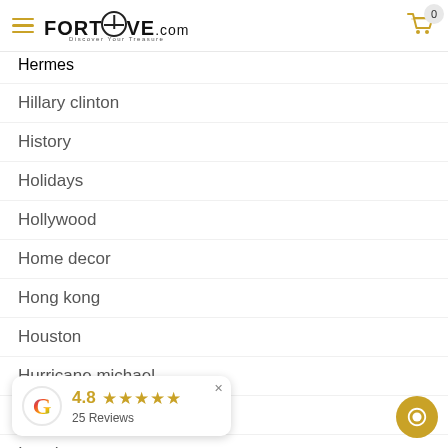FORTROVE.com
Hermes
Hillary clinton
History
Holidays
Hollywood
Home decor
Hong kong
Houston
Hurricane michael
Husam el odeh
Ian charms
[Figure (other): Google review widget showing 4.8 rating with 5 stars and 25 Reviews]